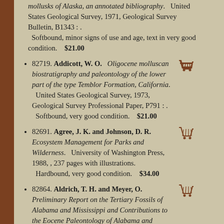mollusks of Alaska, an annotated bibliography. United States Geological Survey, 1971, Geological Survey Bulletin, B1343 : . Softbound, minor signs of use and age, text in very good condition. $21.00
82719. Addicott, W. O. Oligocene molluscan biostratigraphy and paleontology of the lower part of the type Temblor Formation, California. United States Geological Survey, 1973, Geological Survey Professional Paper, P791 : . Softbound, very good condition. $21.00
82691. Agree, J. K. and Johnson, D. R. Ecosystem Management for Parks and Wilderness. University of Washington Press, 1988, , 237 pages with illustrations. Hardbound, very good condition. $34.00
82864. Aldrich, T. H. and Meyer, O. Preliminary Report on the Tertiary Fossils of Alabama and Mississippi and Contributions to the Eocene Paleontology of Alabama and Mississippi. Geological Survey of Alabama, 1886, Bulletin, Number 1, Part 1 & 2 : 85 pages